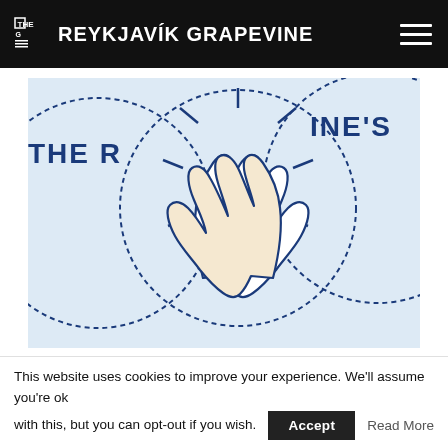THE G REYKJAVÍK GRAPEVINE
[Figure (illustration): Illustration of two hands doing a high five, surrounded by circular dotted patterns with stitching details resembling baseballs. Text 'THE R' and 'NE'S' visible on the circles in dark blue. Light blue background.]
The High Five (With A Secret Handshake!)
This website uses cookies to improve your experience. We'll assume you're ok with this, but you can opt-out if you wish.